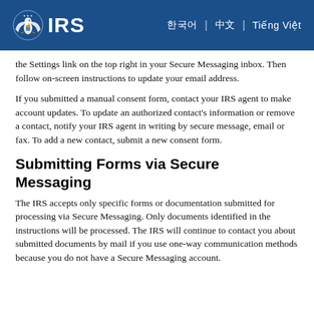IRS
the Settings link on the top right in your Secure Messaging inbox. Then follow on-screen instructions to update your email address.
If you submitted a manual consent form, contact your IRS agent to make account updates. To update an authorized contact's information or remove a contact, notify your IRS agent in writing by secure message, email or fax. To add a new contact, submit a new consent form.
Submitting Forms via Secure Messaging
The IRS accepts only specific forms or documentation submitted for processing via Secure Messaging. Only documents identified in the instructions will be processed. The IRS will continue to contact you about submitted documents by mail if you use one-way communication methods because you do not have a Secure Messaging account.